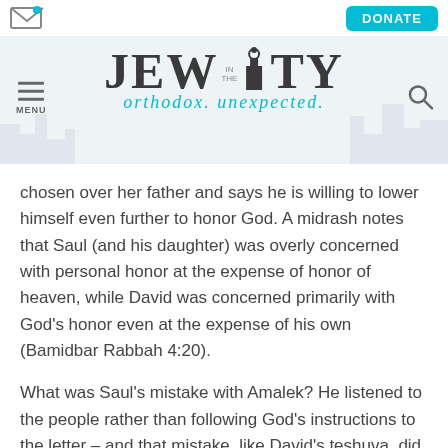Jew in the City — orthodox. unexpected.
chosen over her father and says he is willing to lower himself even further to honor God. A midrash notes that Saul (and his daughter) was overly concerned with personal honor at the expense of honor of heaven, while David was concerned primarily with God's honor even at the expense of his own (Bamidbar Rabbah 4:20).
What was Saul's mistake with Amalek? He listened to the people rather than following God's instructions to the letter – and that mistake, like David's teshuva, did not exist in a vacuum. Saul's stories show a pattern of concern with the views of the people. Even before the